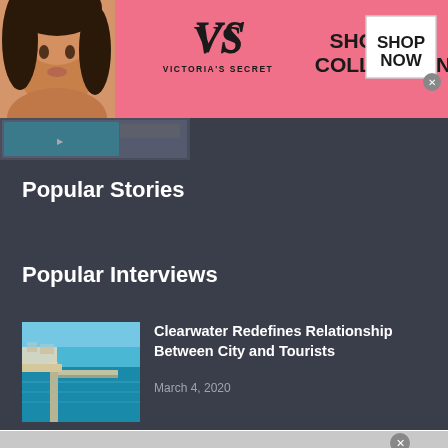[Figure (photo): Victoria's Secret advertisement banner with pink background, model, VS logo, 'SHOP THE COLLECTION' text, and 'SHOP NOW' button]
[Figure (photo): Small thumbnail image strip partially visible below the ad banner]
Popular Stories
Popular Interviews
[Figure (photo): Aerial view of Clearwater beach with pier extending into turquoise water]
Clearwater Redefines Relationship Between City and Tourists
March 4, 2020
[Figure (photo): Advertisement for Omaha Steaks showing Filet Mignon steak with text 'Filet Mignon Fans-This One is For You!']
Filet Mignon Fans-This One is For You!
Grill up our famously fork-tender Filet Mignon-Ships Free!
www.omahasteaks.com